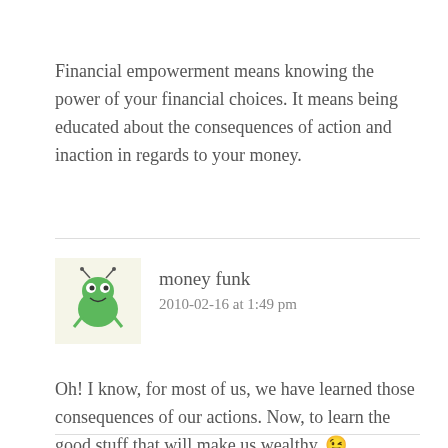Financial empowerment means knowing the power of your financial choices. It means being educated about the consequences of action and inaction in regards to your money.
[Figure (illustration): Small cartoon avatar of a green alien/bug character with antennae on a light yellow background]
money funk
2010-02-16 at 1:49 pm
Oh! I know, for most of us, we have learned those consequences of our actions. Now, to learn the good stuff that will make us wealthy. 😉